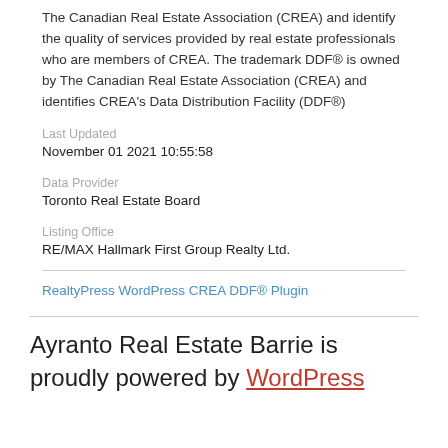The Canadian Real Estate Association (CREA) and identify the quality of services provided by real estate professionals who are members of CREA. The trademark DDF® is owned by The Canadian Real Estate Association (CREA) and identifies CREA's Data Distribution Facility (DDF®)
Last Updated
November 01 2021 10:55:58
Data Provider
Toronto Real Estate Board
Listing Office
RE/MAX Hallmark First Group Realty Ltd.
RealtyPress WordPress CREA DDF® Plugin
Ayranto Real Estate Barrie is proudly powered by WordPress